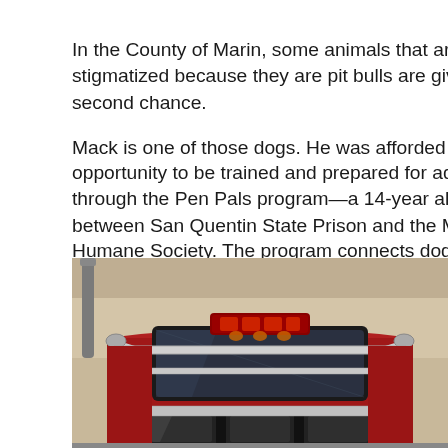In the County of Marin, some animals that are stigmatized because they are pit bulls are given a second chance.

Mack is one of those dogs. He was afforded the opportunity to be trained and prepared for adoption through the Pen Pals program—a 14-year alliance between San Quentin State Prison and the Marin Humane Society. The program connects dogs with behavioral problems and nonviolent prisoners who want to care for them, according to the Marin Independent Journal.
[Figure (photo): Front view of a red fire truck inside a garage, showing the upper portion with chrome grille guards, windshield, and a red emergency light bar on the roof.]